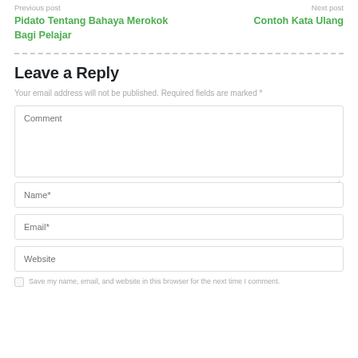Previous post: Pidato Tentang Bahaya Merokok Bagi Pelajar | Next post: Contoh Kata Ulang
Leave a Reply
Your email address will not be published. Required fields are marked *
Comment
Name*
Email*
Website